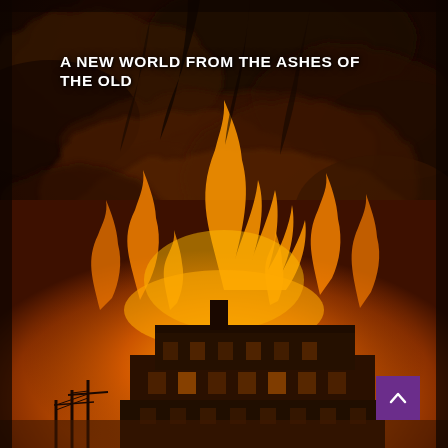[Figure (photo): A dramatic sepia/orange-toned historical photograph of a large building engulfed in massive flames and billowing smoke. The building appears to be a multi-story brick structure with many windows, visible at the bottom of the image. Enormous orange and amber flames rise high above the building against a dark smoky sky. Utility poles and wires are visible in the foreground.]
A NEW WORLD FROM THE ASHES OF THE OLD